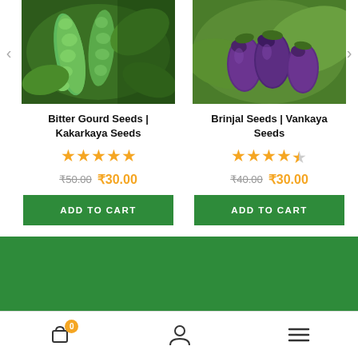[Figure (photo): Photo of bitter gourd (green bumpy vegetable) on a plant with leaves in background]
Bitter Gourd Seeds | Kakarkaya Seeds
★★★★★ (5 stars)
₹50.00  ₹30.00
ADD TO CART
[Figure (photo): Photo of dark purple brinjal (eggplant) with green leaves]
Brinjal Seeds | Vankaya Seeds
★★★★½ (4.5 stars)
₹40.00  ₹30.00
ADD TO CART
OUR LINKS
Cart (0) | User | Menu